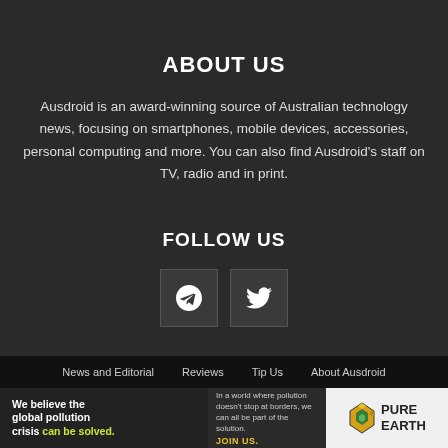ABOUT US
Ausdroid is an award-winning source of Australian technology news, focusing on smartphones, mobile devices, accessories, personal computing and more. You can also find Ausdroid's staff on TV, radio and in print.
FOLLOW US
[Figure (other): Social media icons: Telegram and Twitter]
News and Editorial   Reviews   Tip Us   About Ausdroid
[Figure (infographic): Pure Earth advertisement: We believe the global pollution crisis can be solved. In a world where pollution doesn't stop at borders, we can all be part of the solution. JOIN US.]